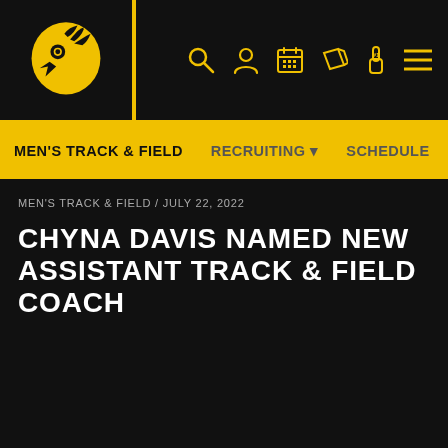[Figure (logo): Iowa Hawkeyes Tigerhawk logo in gold on black background]
MEN'S TRACK & FIELD   RECRUITING ▼   SCHEDULE   ROSTER
MEN'S TRACK & FIELD / JULY 22, 2022
CHYNA DAVIS NAMED NEW ASSISTANT TRACK & FIELD COACH